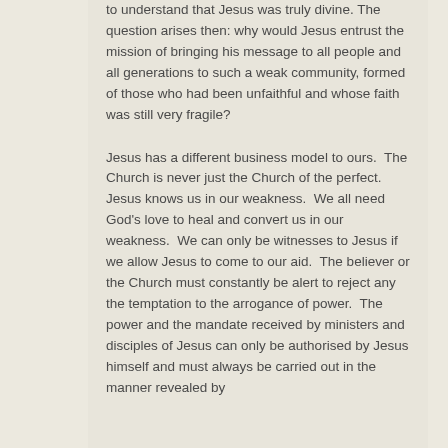to understand that Jesus was truly divine. The question arises then: why would Jesus entrust the mission of bringing his message to all people and all generations to such a weak community, formed of those who had been unfaithful and whose faith was still very fragile?
Jesus has a different business model to ours. The Church is never just the Church of the perfect. Jesus knows us in our weakness. We all need God's love to heal and convert us in our weakness. We can only be witnesses to Jesus if we allow Jesus to come to our aid. The believer or the Church must constantly be alert to reject any the temptation to the arrogance of power. The power and the mandate received by ministers and disciples of Jesus can only be authorised by Jesus himself and must always be carried out in the manner revealed by